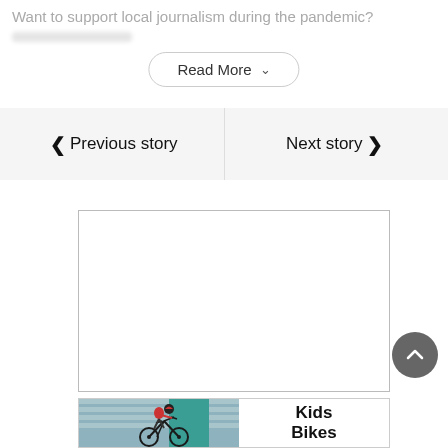Want to support local journalism during the pandemic?
Read More
❮ Previous story
Next story ❯
[Figure (other): Empty white advertisement box with border]
[Figure (photo): Child riding a BMX bike in front of a corrugated wall; advertisement banner with text 'Kids Bikes']